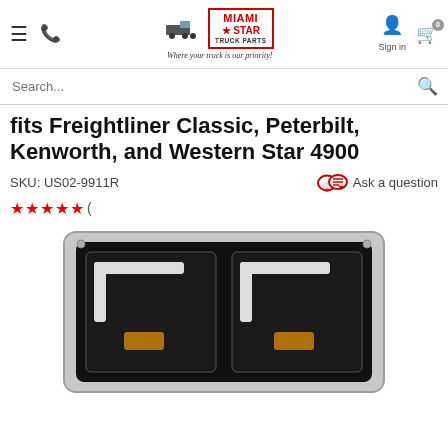Miami Star Truck Parts - Where your truck is our priority!
fits Freightliner Classic, Peterbilt, Kenworth, and Western Star 4900
SKU: US02-9911R
Ask a question
( (rating stars)
[Figure (photo): Chrome truck headlight assembly with dual rectangular LED light bars on black background, partially visible from bottom of page]